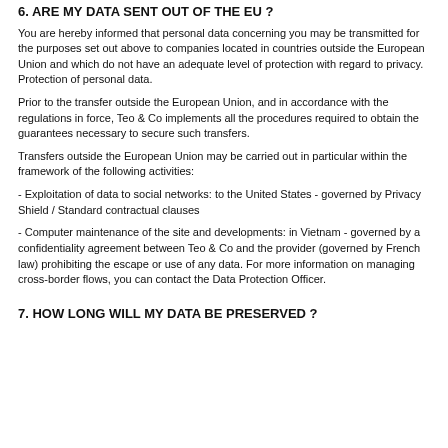6. ARE MY DATA SENT OUT OF THE EU ?
You are hereby informed that personal data concerning you may be transmitted for the purposes set out above to companies located in countries outside the European Union and which do not have an adequate level of protection with regard to privacy. Protection of personal data.
Prior to the transfer outside the European Union, and in accordance with the regulations in force, Teo & Co implements all the procedures required to obtain the guarantees necessary to secure such transfers.
Transfers outside the European Union may be carried out in particular within the framework of the following activities:
- Exploitation of data to social networks: to the United States - governed by Privacy Shield / Standard contractual clauses
- Computer maintenance of the site and developments: in Vietnam - governed by a confidentiality agreement between Teo & Co and the provider (governed by French law) prohibiting the escape or use of any data. For more information on managing cross-border flows, you can contact the Data Protection Officer.
7. HOW LONG WILL MY DATA BE PRESERVED ?